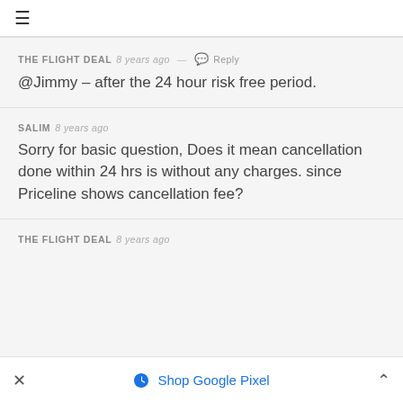☰
THE FLIGHT DEAL 8 years ago — Reply
@Jimmy – after the 24 hour risk free period.
SALIM 8 years ago
Sorry for basic question, Does it mean cancellation done within 24 hrs is without any charges. since Priceline shows cancellation fee?
THE FLIGHT DEAL 8 years ago
✕  Shop Google Pixel  ∧